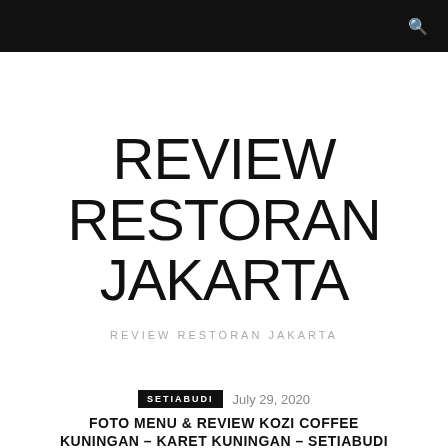REVIEW RESTORAN JAKARTA
REVIEW RESTORAN JAKARTA
SETIABUDI  July 29, 2020
FOTO MENU & REVIEW KOZI COFFEE KUNINGAN – KARET KUNINGAN – SETIABUDI